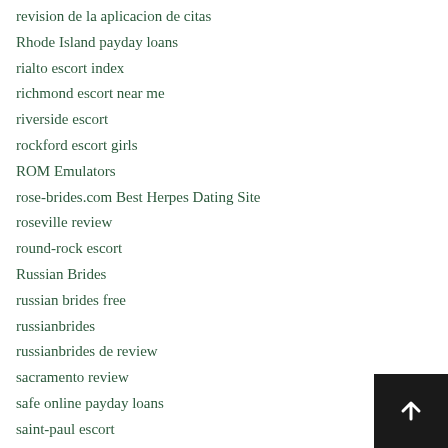revision de la aplicacion de citas
Rhode Island payday loans
rialto escort index
richmond escort near me
riverside escort
rockford escort girls
ROM Emulators
rose-brides.com Best Herpes Dating Site
roseville review
round-rock escort
Russian Brides
russian brides free
russianbrides
russianbrides de review
sacramento review
safe online payday loans
saint-paul escort
salem escort
salinas escort